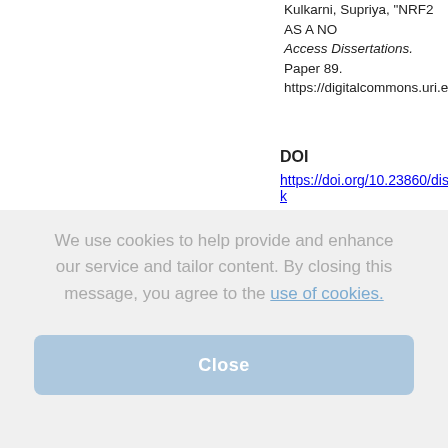Kulkarni, Supriya, "NRF2 AS A NO..." Open Access Dissertations. Paper 89. https://digitalcommons.uri.edu/oa...
DOI
https://doi.org/10.23860/diss-k...
To view the content in your browser, you may Download the file to your...
NOTE: The latest versions of Adobe Reader do not support viewing PDF files within Firefox on Mac OS and if you are using a modern (Intel) Mac, the...
We use cookies to help provide and enhance our service and tailor content. By closing this message, you agree to the use of cookies.